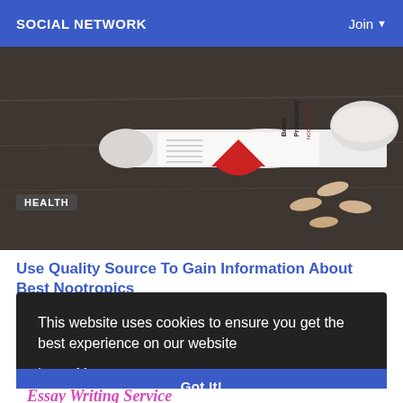SOCIAL NETWORK    Join
[Figure (photo): A white supplement bottle labeled 'Brain Productivity Nootropics' with a red triangle logo, lying on its side on a dark wooden surface with capsule pills spilled next to it and a white lid nearby.]
HEALTH
Use Quality Source To Gain Information About Best Nootropics
In today's times, a great many even older sufferers don't contain brilliant
This website uses cookies to ensure you get the best experience on our website
Learn More
Got It!
Essay Writing Service